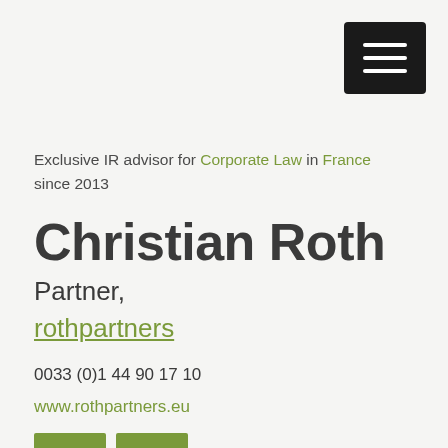[Figure (other): Dark hamburger menu button with three white horizontal lines]
Exclusive IR advisor for Corporate Law in France since 2013
Christian Roth
Partner,
rothpartners
0033 (0)1 44 90 17 10
www.rothpartners.eu
[Figure (other): Two green social media or action buttons]